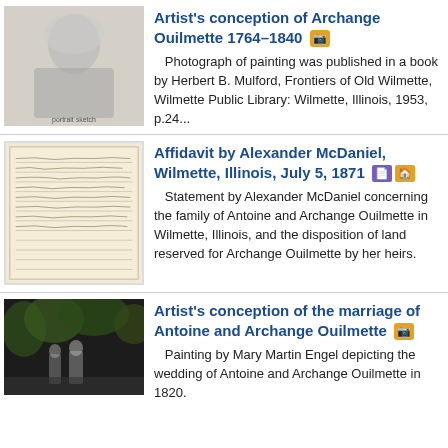[Figure (photo): Portrait sketch of Archange Ouilmette, an elderly woman seated]
Artist's conception of Archange Ouilmette 1764–1840 [camera icon]
Photograph of painting was published in a book by Herbert B. Mulford, Frontiers of Old Wilmette, Wilmette Public Library: Wilmette, Illinois, 1953, p.24...
[Figure (photo): Handwritten document / affidavit page]
Affidavit by Alexander McDaniel, Wilmette, Illinois, July 5, 1871 [document icon][home icon]
Statement by Alexander McDaniel concerning the family of Antoine and Archange Ouilmette in Wilmette, Illinois, and the disposition of land reserved for Archange Ouilmette by her heirs.
[Figure (photo): Painting depicting a wedding scene in a wooded outdoor setting]
Artist's conception of the marriage of Antoine and Archange Ouilmette [camera icon]
Painting by Mary Martin Engel depicting the wedding of Antoine and Archange Ouilmette in 1820.